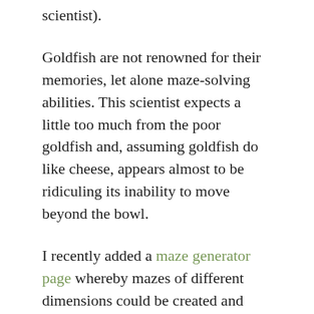scientist).
Goldfish are not renowned for their memories, let alone maze-solving abilities. This scientist expects a little too much from the poor goldfish and, assuming goldfish do like cheese, appears almost to be ridiculing its inability to move beyond the bowl.
I recently added a maze generator page whereby mazes of different dimensions could be created and then solved. I should point out to smaller children that it’s best to print these mazes out to complete them rather than trying to do them on-screen with permanent markers.
The creation of the maze generator page gave